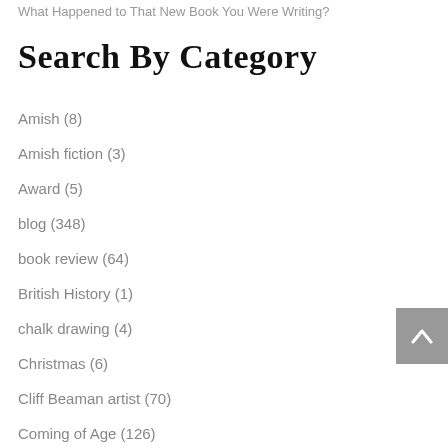What Happened to That New Book You Were Writing?
Search By Category
Amish (8)
Amish fiction (3)
Award (5)
blog (348)
book review (64)
British History (1)
chalk drawing (4)
Christmas (6)
Cliff Beaman artist (70)
Coming of Age (126)
Conflict (87)